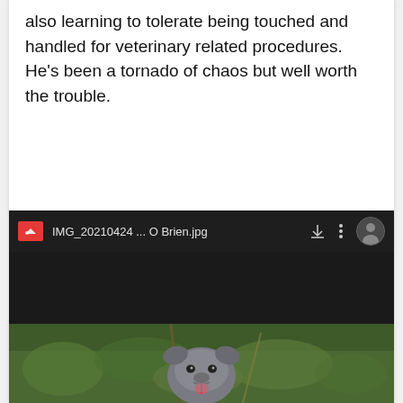also learning to tolerate being touched and handled for veterinary related procedures. He's been a tornado of chaos but well worth the trouble.
[Figure (screenshot): Mobile browser screenshot showing a Google Drive file viewer with a dark header bar displaying 'IMG_20210424 ... O Brien.jpg' with download and menu icons. The status bar shows time 11:31, app icons, WiFi, signal, and lock icons. The address bar shows 'drive.google.com'. Below is a dark-backgrounded Google Drive image viewer showing a gray pit bull dog outdoors in green grass and foliage, with its mouth open and tongue out.]